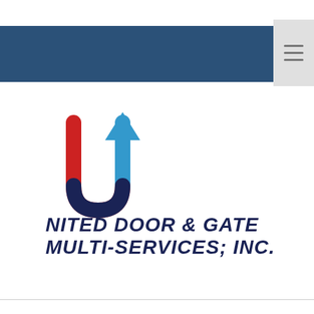[Figure (logo): United Door & Gate Multi-Services; Inc. logo with a red U shape and blue upward arrow forming a stylized letter U, followed by bold dark navy italic text reading UNITED DOOR & GATE MULTI-SERVICES; INC.]
Navigation header bar - dark blue background with hamburger menu icon on the right